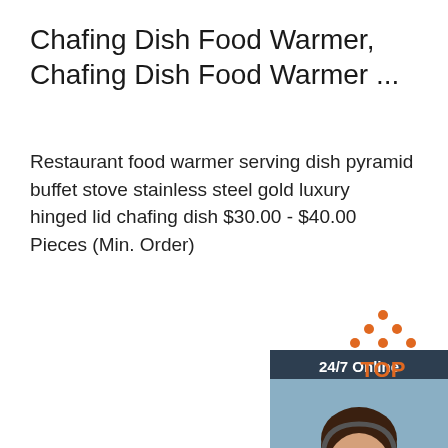Chafing Dish Food Warmer, Chafing Dish Food Warmer ...
Restaurant food warmer serving dish pyramid buffet stove stainless steel gold luxury hinged lid chafing dish $30.00 - $40.00 Pieces (Min. Order)
Get Price
[Figure (infographic): Customer service chat widget showing '24/7 Online' header, photo of a woman with headset, 'Click here for free chat!' text, and an orange QUOTATION button]
[Figure (logo): TOP icon with orange dots arranged in a triangle above the word TOP in orange letters]